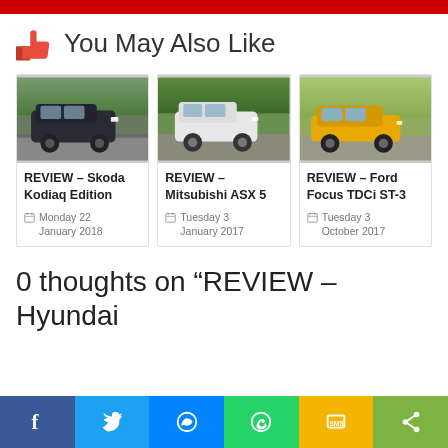You May Also Like
[Figure (photo): Dark SUV (Skoda Kodiaq) driving on a road]
REVIEW – Skoda Kodiaq Edition
Monday 22
January 2018
[Figure (photo): White SUV (Mitsubishi ASX 5) driving past greenery]
REVIEW – Mitsubishi ASX 5
Tuesday 3
January 2017
[Figure (photo): Yellow hatchback (Ford Focus TDCi ST-3) driving on a road]
REVIEW – Ford Focus TDCi ST-3
Tuesday 3
October 2017
0 thoughts on “REVIEW – Hyundai